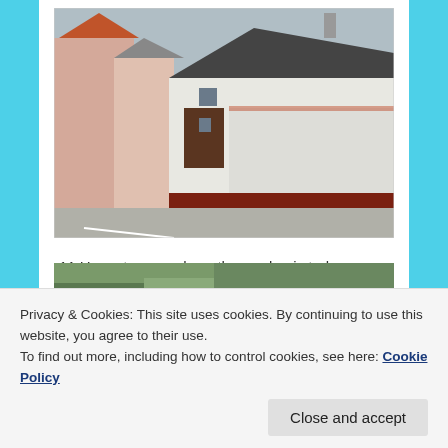[Figure (photo): Street view photo of 11 Haupstrasse showing white-walled building with dark roof and brown base, with buildings visible to the left on a narrow street.]
11 Haupstrasse, where the garden is today, was clearly the Koob property, which includes the building behind, to the left of the van in the photo below. The property to the
Privacy & Cookies: This site uses cookies. By continuing to use this website, you agree to their use.
To find out more, including how to control cookies, see here: Cookie Policy
[Figure (photo): Bottom portion of a second street photo partially visible at the bottom of the page.]